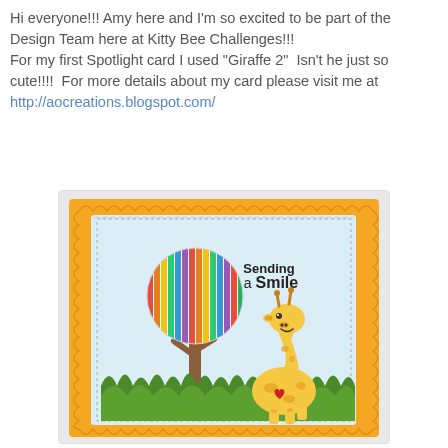Hi everyone!!! Amy here and I'm so excited to be part of the Design Team here at Kitty Bee Challenges!!! For my first Spotlight card I used "Giraffe 2"  Isn't he just so cute!!!!  For more details about my card please visit me at http://aocreations.blogspot.com/
[Figure (photo): A handmade greeting card with a yellow giraffe sitting in green grass, a colorful striped tree with a circular canopy, on a light blue background. The card has an orange scalloped border and reads 'Sending a Smile' in stamp lettering.]